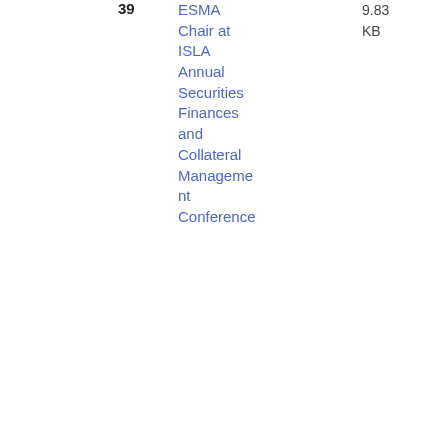39
ESMA Chair at ISLA Annual Securities Finances and Collateral Management Conference
9.83 KB